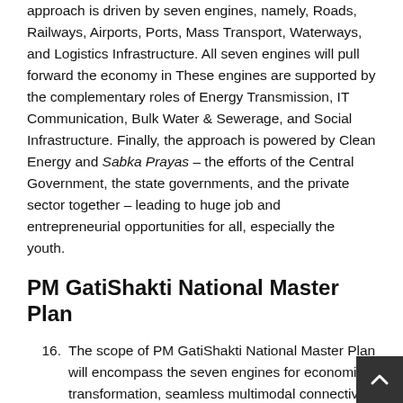approach is driven by seven engines, namely, Roads, Railways, Airports, Ports, Mass Transport, Waterways, and Logistics Infrastructure. All seven engines will pull forward the economy in These engines are supported by the complementary roles of Energy Transmission, IT Communication, Bulk Water & Sewerage, and Social Infrastructure. Finally, the approach is powered by Clean Energy and Sabka Prayas – the efforts of the Central Government, the state governments, and the private sector together – leading to huge job and entrepreneurial opportunities for all, especially the youth.
PM GatiShakti National Master Plan
16. The scope of PM GatiShakti National Master Plan will encompass the seven engines for economic transformation, seamless multimodal connectivity and logistics efficiency. It will also include the infrastructure developed by the state governments as per the GatiShakti Master The focus will be on planning,